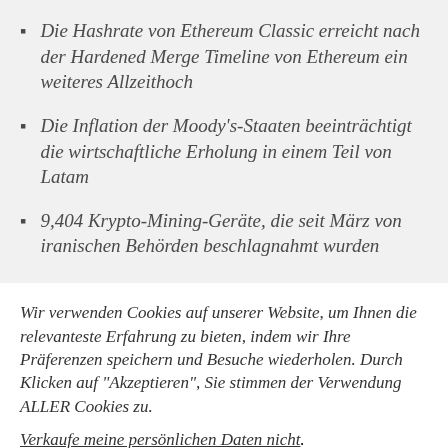Die Hashrate von Ethereum Classic erreicht nach der Hardened Merge Timeline von Ethereum ein weiteres Allzeithoch
Die Inflation der Moody's-Staaten beeinträchtigt die wirtschaftliche Erholung in einem Teil von Latam
9,404 Krypto-Mining-Geräte, die seit März von iranischen Behörden beschlagnahmt wurden
Wir verwenden Cookies auf unserer Website, um Ihnen die relevanteste Erfahrung zu bieten, indem wir Ihre Präferenzen speichern und Besuche wiederholen. Durch Klicken auf "Akzeptieren", Sie stimmen der Verwendung ALLER Cookies zu.
Verkaufe meine persönlichen Daten nicht.
Cookie-Einstellungen | Annehmen